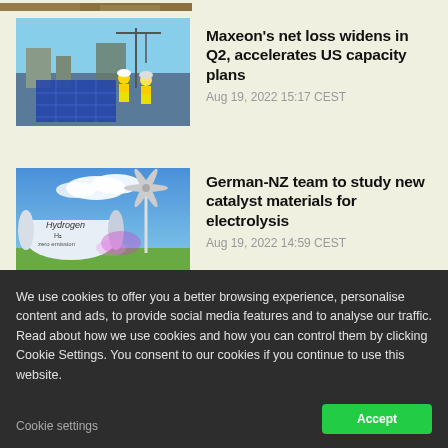[Figure (photo): Partial view of a solar panel installation image at the top]
[Figure (photo): Two workers in yellow vests inspecting solar panels]
Maxeon's net loss widens in Q2, accelerates US capacity plans
Aug 19, 2022 15:17 CEST
[Figure (photo): Hydrogen storage tanks and wind turbines against a blue sky]
German-NZ team to study new catalyst materials for electrolysis
Aug 19, 2022 14:59 CEST
[Figure (photo): Map showing floating wind locations near coastline]
Source Energie's floating-wind-to-H2 plans align with Crown Estate map
We use cookies to offer you a better browsing experience, personalise content and ads, to provide social media features and to analyse our traffic. Read about how we use cookies and how you can control them by clicking Cookie Settings. You consent to our cookies if you continue to use this website.